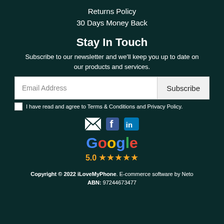Returns Policy
30 Days Money Back
Stay In Touch
Subscribe to our newsletter and we'll keep you up to date on our products and services.
Email Address  Subscribe
I have read and agree to Terms & Conditions and Privacy Policy.
[Figure (infographic): Social media icons: email envelope, Facebook, LinkedIn]
[Figure (logo): Google logo with colored letters and 5.0 star rating below]
Copyright © 2022 iLoveMyPhone. E-commerce software by Neto ABN: 97244673477